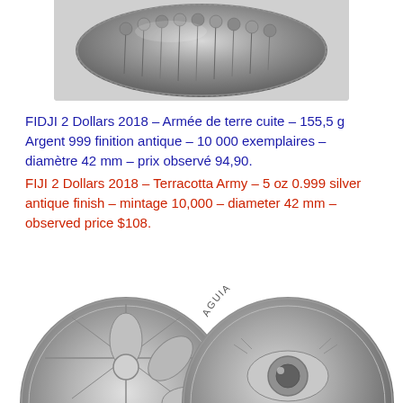[Figure (photo): Close-up photo of a silver coin showing terracotta army soldiers in antique finish, oval/dome shaped, grey tones]
FIDJI 2 Dollars 2018 – Armée de terre cuite – 155,5 g Argent 999 finition antique – 10 000 exemplaires – diamètre 42 mm – prix observé 94,90.
FIJI 2 Dollars 2018 – Terracotta Army – 5 oz 0.999 silver antique finish – mintage 10,000 – diameter 42 mm – observed price $108.
[Figure (photo): Two silver coins at the bottom of the page: left coin shows a floral/bird design, right coin shows 'AGUIA IMPERIAL' text with a bird eye close-up]